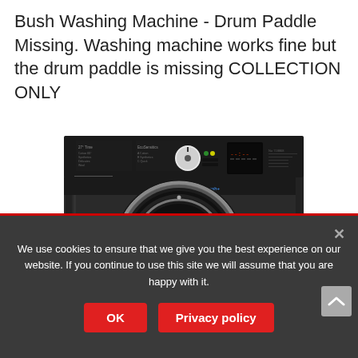Bush Washing Machine - Drum Paddle Missing. Washing machine works fine but the drum paddle is missing COLLECTION ONLY
[Figure (photo): Black front-loading washing machine (Indesit brand) with dark body, circular door with chrome ring, and control panel with dials and buttons on top]
We use cookies to ensure that we give you the best experience on our website. If you continue to use this site we will assume that you are happy with it.